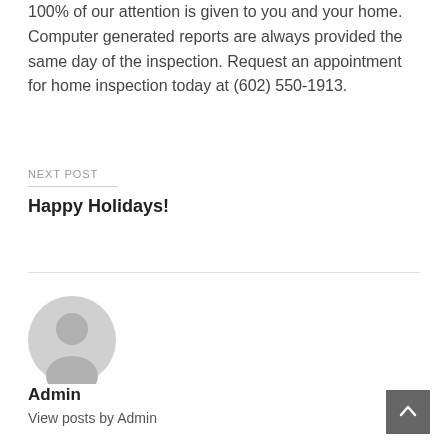100% of our attention is given to you and your home. Computer generated reports are always provided the same day of the inspection. Request an appointment for home inspection today at (602) 550-1913.
NEXT POST
Happy Holidays!
[Figure (illustration): Gray default user avatar icon — circular silhouette of a person]
Admin
View posts by Admin